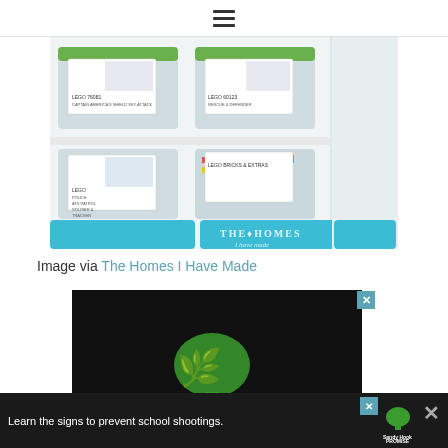Navigation menu (hamburger icon)
[Figure (photo): Photo of organized LEGO storage bins on white shelving unit. Clear plastic bins with green lids are labeled with LEGO set cards showing box art. Bottom bins are teal/turquoise fabric drawers. Watermark reads 'THE HOMES I Have Made' in white text bottom right.]
Image via The Homes I Have Made
[Figure (screenshot): Advertisement with black background showing a green tree/hands icon for Sandy Hook Promise. Partially visible.]
Learn the signs to prevent school shootings. Sandy Hook Promise